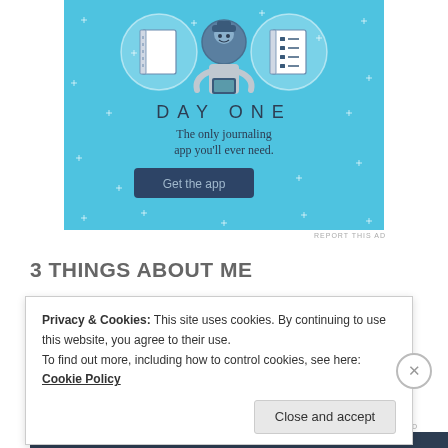[Figure (illustration): Day One journaling app advertisement on light blue background with sparkle dots, showing icons of a blank notebook, a person holding a phone, and a checklist notebook. Text reads DAY ONE - The only journaling app you'll ever need. Button: Get the app.]
REPORT THIS AD
3 THINGS ABOUT ME
Privacy & Cookies: This site uses cookies. By continuing to use this website, you agree to their use.
To find out more, including how to control cookies, see here: Cookie Policy
Close and accept